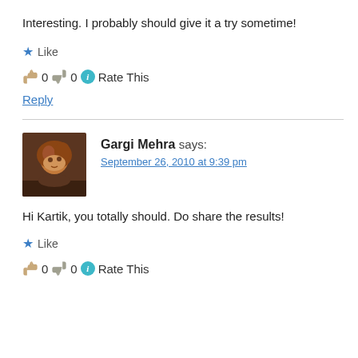Interesting. I probably should give it a try sometime!
★ Like
👍 0 👎 0 ℹ Rate This
Reply
Gargi Mehra says:
September 26, 2010 at 9:39 pm
Hi Kartik, you totally should. Do share the results!
★ Like
👍 0 👎 0 ℹ Rate This